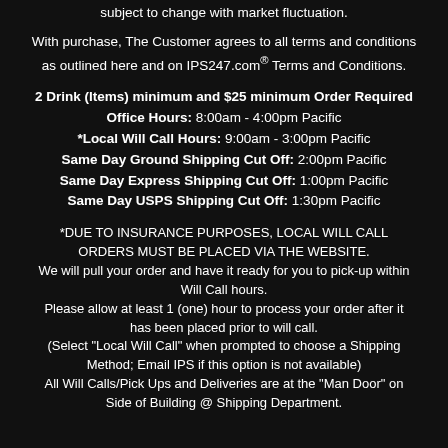subject to change with market fluctuation.
With purchase, The Customer agrees to all terms and conditions as outlined here and on IPS247.com® Terms and Conditions.
2 Drink (Items) minimum and $25 minimum Order Required
Office Hours: 8:00am - 4:00pm Pacific
*Local Will Call Hours: 9:00am - 3:00pm Pacific
Same Day Ground Shipping Cut Off: 2:00pm Pacific
Same Day Express Shipping Cut Off: 1:00pm Pacific
Same Day USPS Shipping Cut Off: 1:30pm Pacific
*DUE TO INSURANCE PURPOSES, LOCAL WILL CALL ORDERS MUST BE PLACED VIA THE WEBSITE.
We will pull your order and have it ready for you to pick-up within Will Call hours.
Please allow at least 1 (one) hour to process your order after it has been placed prior to will call.
(Select "Local Will Call" when prompted to choose a Shipping Method; Email IPS if this option is not available)
All Will Calls/Pick Ups and Deliveries are at the "Man Door" on Side of Building @ Shipping Department.